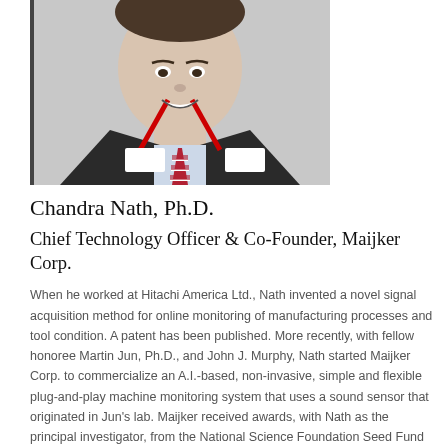[Figure (photo): Headshot photo of Chandra Nath, Ph.D., a man in a suit with an American flag tie and conference lanyard, smiling at the camera against a light background.]
Chandra Nath, Ph.D.
Chief Technology Officer & Co-Founder, Maijker Corp.
When he worked at Hitachi America Ltd., Nath invented a novel signal acquisition method for online monitoring of manufacturing processes and tool condition. A patent has been published. More recently, with fellow honoree Martin Jun, Ph.D., and John J. Murphy, Nath started Maijker Corp. to commercialize an A.I.-based, non-invasive, simple and flexible plug-and-play machine monitoring system that uses a sound sensor that originated in Jun's lab. Maijker received awards, with Nath as the principal investigator, from the National Science Foundation Seed Fund and Elevate Ventures Inc., Indianapolis, to continue the R&D and commercialization work for the system. Maijker began just as the pandemic started. Despite some COVID-induced initial delays in